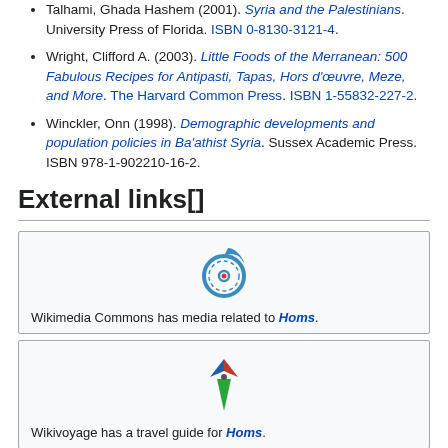Talhami, Ghada Hashem (2001). Syria and the Palestinians. University Press of Florida. ISBN 0-8130-3121-4.
Wright, Clifford A. (2003). Little Foods of the Merranean: 500 Fabulous Recipes for Antipasti, Tapas, Hors d'oeuvre, Meze, and More. The Harvard Common Press. ISBN 1-55832-227-2.
Winckler, Onn (1998). Demographic developments and population policies in Ba'athist Syria. Sussex Academic Press. ISBN 978-1-902210-16-2.
External links[]
[Figure (logo): Wikimedia Commons logo - blue circular swirl with red dot center]
Wikimedia Commons has media related to Homs.
[Figure (logo): Wikivoyage logo - compass arrow shape in blue, red, and green]
Wikivoyage has a travel guide for Homs.
eHoms – official website for Homs
Homs Online – brief information about the city of Homs
Emesa-net (in Japanese)
Executive Branch of Homs Archived 13 June 2017 at the